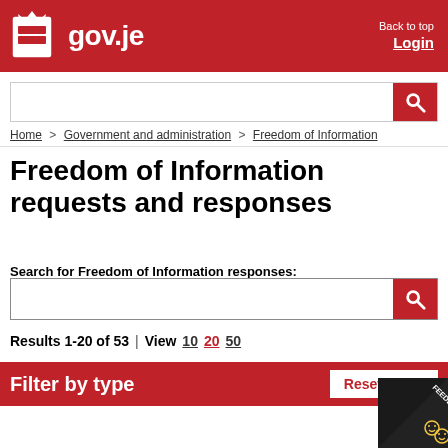gov.je — Back to top — Login
Search bar (top navigation)
Home > Government and administration > Freedom of Information
Freedom of Information requests and responses
Search for Freedom of Information responses:
Results 1-20 of 53 | View 10 20 50
Filter by type — Reset filters